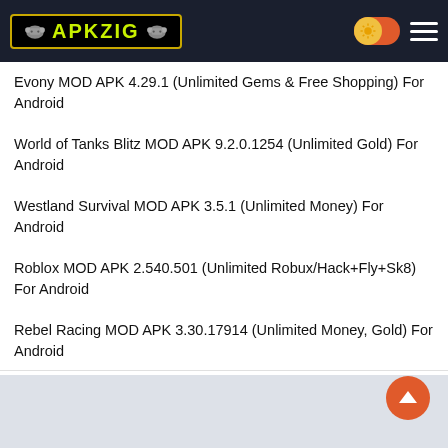APKZIG
Evony MOD APK 4.29.1 (Unlimited Gems & Free Shopping) For Android
World of Tanks Blitz MOD APK 9.2.0.1254 (Unlimited Gold) For Android
Westland Survival MOD APK 3.5.1 (Unlimited Money) For Android
Roblox MOD APK 2.540.501 (Unlimited Robux/Hack+Fly+Sk8) For Android
Rebel Racing MOD APK 3.30.17914 (Unlimited Money, Gold) For Android